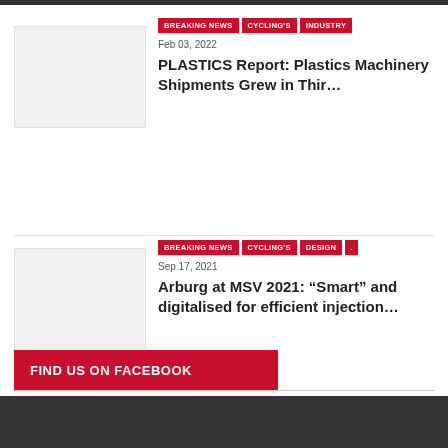[Figure (photo): Placeholder thumbnail image (light gray rectangle) for news item 1]
BREAKING NEWS | CYCLING'S | INDUSTRY
Feb 03, 2022
PLASTICS Report: Plastics Machinery Shipments Grew in Thir...
[Figure (photo): Placeholder thumbnail image (light gray rectangle) for news item 2]
BREAKING NEWS | CYCLING'S | DESIGN | .
Sep 17, 2021
Arburg at MSV 2021: “Smart” and digitalised for efficient injection...
FIND US ON FACEBOOK